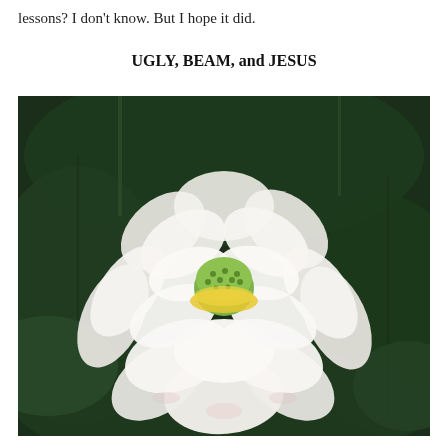lessons? I don't know. But I hope it did.
UGLY, BEAM, and JESUS
[Figure (photo): A white lotus flower in bloom with a green seed pod center, surrounded by dark green lotus leaves. The flower has large, open white petals with a yellow-green center and is photographed against a dark background of large round lotus leaves.]